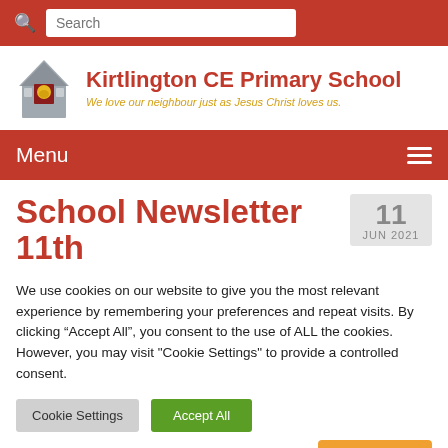Search
[Figure (logo): Kirtlington CE Primary School logo showing a church/school building with a bell]
Kirtlington CE Primary School
We love our neighbour just as Jesus Christ loves us.
Menu
School Newsletter 11th
11 JUN 2021
We use cookies on our website to give you the most relevant experience by remembering your preferences and repeat visits. By clicking "Accept All", you consent to the use of ALL the cookies. However, you may visit "Cookie Settings" to provide a controlled consent.
Cookie Settings  Accept All
Translate »